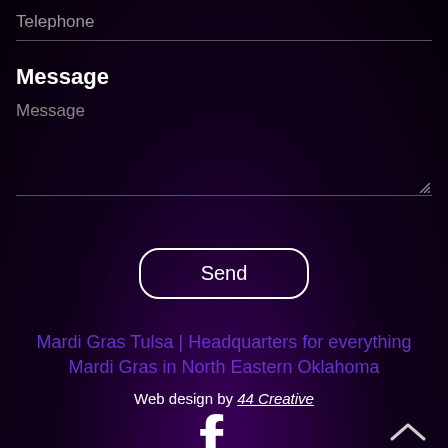Telephone
Message
Message
Send
Mardi Gras Tulsa | Headquarters for everything Mardi Gras in North Eastern Oklahoma
Web design by 44 Creative
[Figure (logo): Facebook 'f' logo in white]
^